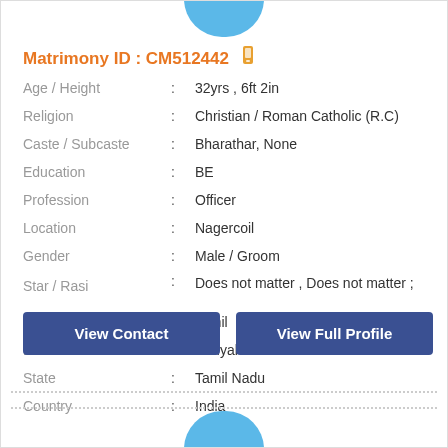[Figure (illustration): Blue circular avatar image partially visible at top of card]
Matrimony ID : CM512442
| Field | : | Value |
| --- | --- | --- |
| Age / Height | : | 32yrs , 6ft 2in |
| Religion | : | Christian / Roman Catholic (R.C) |
| Caste / Subcaste | : | Bharathar, None |
| Education | : | BE |
| Profession | : | Officer |
| Location | : | Nagercoil |
| Gender | : | Male / Groom |
| Star / Rasi | : | Does not matter , Does not matter ; |
| Language | : | Tamil |
| District | : | Kanyakumari |
| State | : | Tamil Nadu |
| Country | : | India |
View Contact
View Full Profile
[Figure (illustration): Blue circular avatar image partially visible at bottom of card]